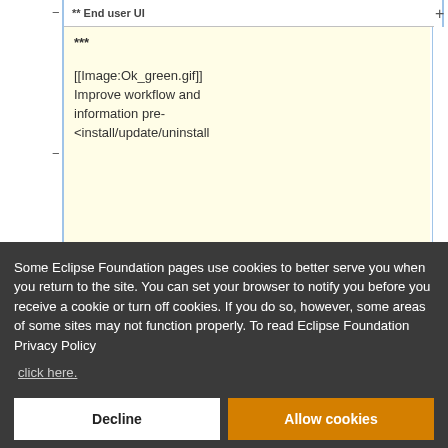[Figure (screenshot): Partial screenshot of a wiki-style table showing '** End user UI' header row, with content including '***' and '[[Image:Ok_green.gif]] Improve workflow and information pre-<install/update/uninstall' in a yellow-highlighted cell. Blue vertical column dividers visible. Minus and plus expand/collapse controls shown.]
Some Eclipse Foundation pages use cookies to better serve you when you return to the site. You can set your browser to notify you before you receive a cookie or turn off cookies. If you do so, however, some areas of some sites may not function properly. To read Eclipse Foundation Privacy Policy click here.
Decline
Allow cookies
id=201488 Bug 2014881)